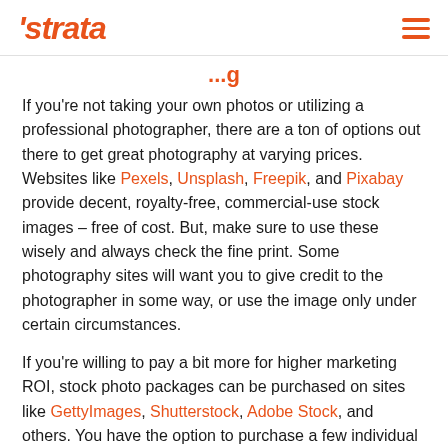'strata [hamburger menu]
...g
If you're not taking your own photos or utilizing a professional photographer, there are a ton of options out there to get great photography at varying prices. Websites like Pexels, Unsplash, Freepik, and Pixabay provide decent, royalty-free, commercial-use stock images – free of cost. But, make sure to use these wisely and always check the fine print. Some photography sites will want you to give credit to the photographer in some way, or use the image only under certain circumstances.
If you're willing to pay a bit more for higher marketing ROI, stock photo packages can be purchased on sites like GettyImages, Shutterstock, Adobe Stock, and others. You have the option to purchase a few individual photos – but that can get costly. We'd recommend going with one of the free sites above, or, if you have more photo needs, getting a plan that, for